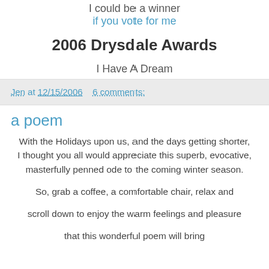I could be a winner if you vote for me
2006 Drysdale Awards
I Have A Dream
Jen at 12/15/2006    6 comments:
a poem
With the Holidays upon us, and the days getting shorter, I thought you all would appreciate this superb, evocative, masterfully penned ode to the coming winter season.
So, grab a coffee, a comfortable chair, relax and
scroll down to enjoy the warm feelings and pleasure
that this wonderful poem will bring